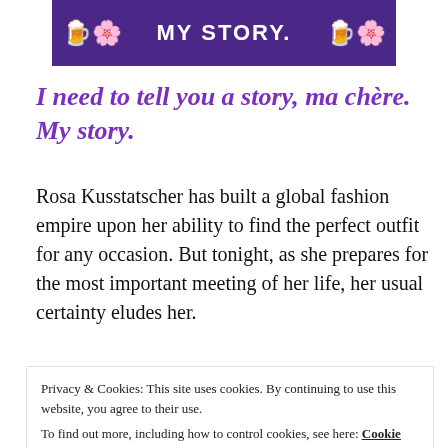[Figure (illustration): Purple banner with 'MY STORY.' text in white, flanked by decorative golden cup/trophy and floral elements on a dark purple background.]
I need to tell you a story, ma chère. My story.
Rosa Kusstatscher has built a global fashion empire upon her ability to find the perfect outfit for any occasion. But tonight, as she prepares for the most important meeting of her life, her usual certainty eludes her.
What brought her to this moment? As she struggles to
Privacy & Cookies: This site uses cookies. By continuing to use this website, you agree to their use. To find out more, including how to control cookies, see here: Cookie Policy
in Paris. Of ambition and devastation in Rio de Janeiro;